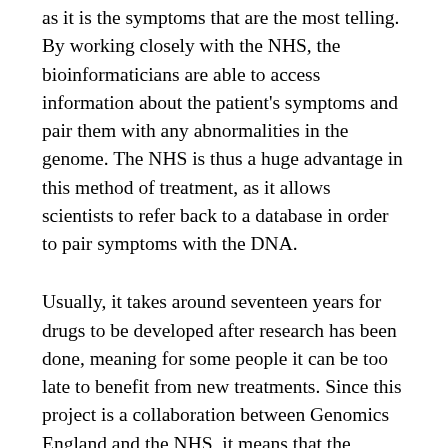as it is the symptoms that are the most telling. By working closely with the NHS, the bioinformaticians are able to access information about the patient's symptoms and pair them with any abnormalities in the genome. The NHS is thus a huge advantage in this method of treatment, as it allows scientists to refer back to a database in order to pair symptoms with the DNA.
Usually, it takes around seventeen years for drugs to be developed after research has been done, meaning for some people it can be too late to benefit from new treatments. Since this project is a collaboration between Genomics England and the NHS, it means that the discovery of new treatments is given back to patients straight away by their own doctor.
For cancer patients, the process works slightly differently. Rather than taking blood from family